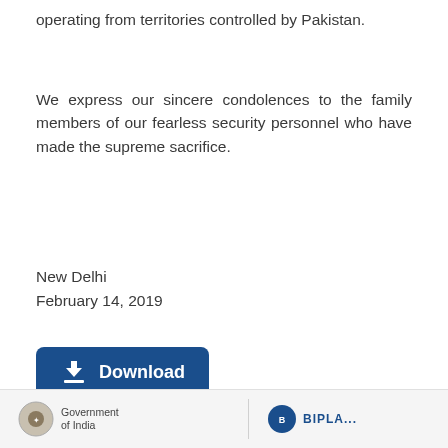operating from territories controlled by Pakistan.
We express our sincere condolences to the family members of our fearless security personnel who have made the supreme sacrifice.
New Delhi
February 14, 2019
[Figure (other): Blue Download button with download icon and text 'Download']
Footer with government emblem logo on the left and BIRLA or similar logo on the right